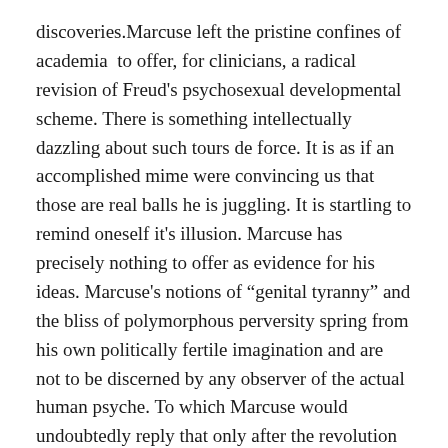discoveries.Marcuse left the pristine confines of academia to offer, for clinicians, a radical revision of Freud's psychosexual developmental scheme. There is something intellectually dazzling about such tours de force. It is as if an accomplished mime were convincing us that those are real balls he is juggling. It is startling to remind oneself it's illusion. Marcuse has precisely nothing to offer as evidence for his ideas. Marcuse's notions of “genital tyranny” and the bliss of polymorphous perversity spring from his own politically fertile imagination and are not to be discerned by any observer of the actual human psyche. To which Marcuse would undoubtedly reply that only after the revolution will the rest of us notice what has become visible to him. And here we depart the terra firms of reasoned discourse for the blue sky of utopian speculation.